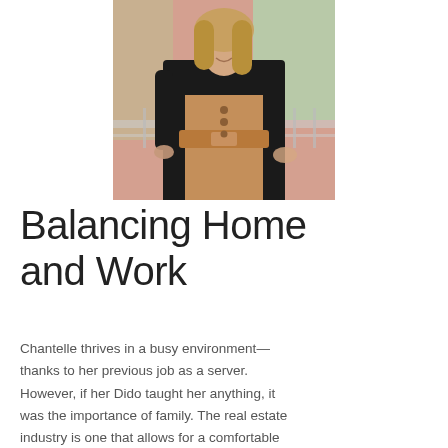[Figure (photo): A woman smiling, wearing a camel-colored dress with a belt and a black blazer, standing on a balcony with a blurred background.]
Balancing Home and Work
Chantelle thrives in a busy environment—thanks to her previous job as a server. However, if her Dido taught her anything, it was the importance of family. The real estate industry is one that allows for a comfortable life, but finding the perfect balance takes